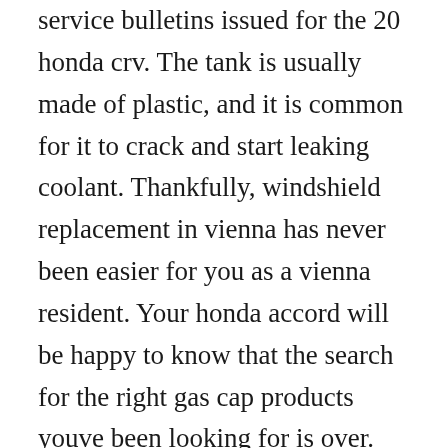service bulletins issued for the 20 honda crv. The tank is usually made of plastic, and it is common for it to crack and start leaking coolant. Thankfully, windshield replacement in vienna has never been easier for you as a vienna resident. Your honda accord will be happy to know that the search for the right gas cap products youve been looking for is over. Powerful, quiet and reliable, the 115hp outboard motor is ideal for pontoons and heavier midsize boats. Supersedes 81, dated december 20, 20, to revise the information marked by the black bars revision summary